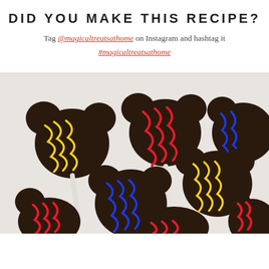DID YOU MAKE THIS RECIPE?
Tag @magicaltreatsathome on Instagram and hashtag it #magicaltreatsathome
[Figure (photo): Multiple chocolate cake pops shaped like Mickey Mouse heads, dipped in dark chocolate and decorated with colorful drizzles of red, yellow, and blue candy coating, arranged on white parchment paper.]